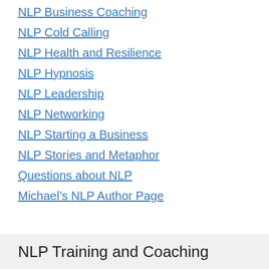NLP Business Coaching
NLP Cold Calling
NLP Health and Resilience
NLP Hypnosis
NLP Leadership
NLP Networking
NLP Starting a Business
NLP Stories and Metaphor
Questions about NLP
Michael’s NLP Author Page
NLP Training and Coaching